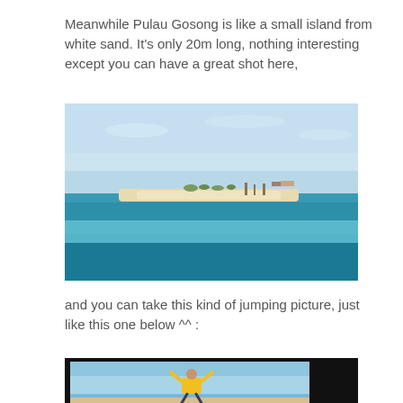Meanwhile Pulau Gosong is like a small island from white sand. It's only 20m long, nothing interesting except you can have a great shot here,
[Figure (photo): Aerial/sea-level view of Pulau Gosong, a small sandy island surrounded by turquoise blue sea water, with a clear sky above.]
and you can take this kind of jumping picture, just like this one below ^^ :
[Figure (photo): A person wearing a yellow t-shirt jumping in the air against a blue sky, framed inside a black border photo.]